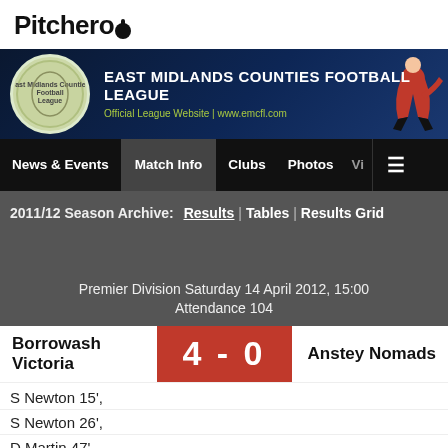Pitchero
[Figure (illustration): East Midlands Counties Football League banner with club crest logo on left, league title and website URL in center, and footballer kicking in red kit on right]
News & Events | Match Info | Clubs | Photos | Vi | ☰
2011/12 Season Archive: Results | Tables | Results Grid
Premier Division Saturday 14 April 2012, 15:00
Attendance 104
| Home | Score | Away |
| --- | --- | --- |
| Borrowash Victoria | 4 - 0 | Anstey Nomads |
S Newton 15',
S Newton 26',
D Martin 47',